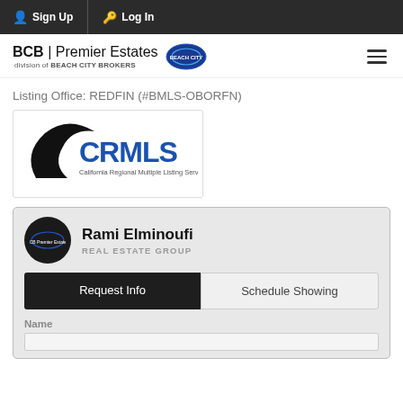Sign Up  Log In
[Figure (logo): BCB Premier Estates logo with Beach City Brokers circular emblem]
Listing Office: REDFIN (#BMLS-OBORFN)
[Figure (logo): CRMLS - California Regional Multiple Listing Service, Inc. logo]
Rami Elminoufi
REAL ESTATE GROUP
Request Info  Schedule Showing
Name